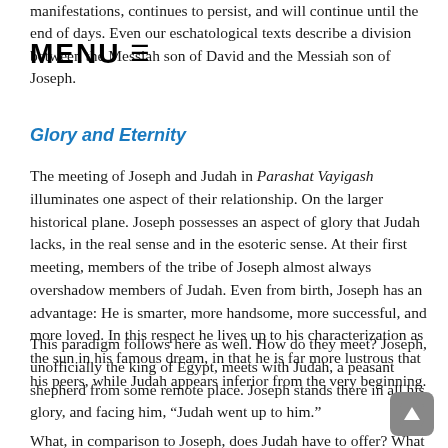manifestations, continues to persist, and will continue until the end of days. Even our eschatological texts describe a division between the Messiah son of David and the Messiah son of Joseph.
Glory and Eternity
The meeting of Joseph and Judah in Parashat Vayigash illuminates one aspect of their relationship. On the larger historical plane. Joseph possesses an aspect of glory that Judah lacks, in the real sense and in the esoteric sense. At their first meeting, members of the tribe of Joseph almost always overshadow members of Judah. Even from birth, Joseph has an advantage: He is smarter, more handsome, more successful, and more loved. In this respect he lives up to his characterization as the sun in his famous dream, in that he is far more lustrous that his peers, while Judah appears inferior from the very beginning.
This paradigm follows here as well. How do they meet? Joseph, unofficially the king of Egypt, meets with Judah, a peasant shepherd from some remote place. Joseph stands there in all his glory, and facing him, “Judah went up to him.”
What, in comparison to Joseph, does Judah have to offer? What is